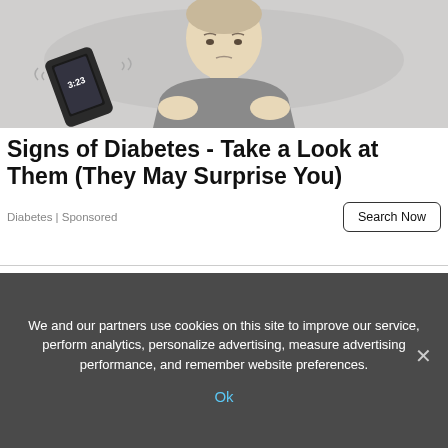[Figure (illustration): Cartoon illustration of a person lying in bed awake at 3:23 AM, with a phone showing the time beside them on the pillow. The person looks tired and worried, holding their chest area. Grey/beige color scheme.]
Signs of Diabetes - Take a Look at Them (They May Surprise You)
Diabetes | Sponsored
Search Now
We and our partners use cookies on this site to improve our service, perform analytics, personalize advertising, measure advertising performance, and remember website preferences.
Ok